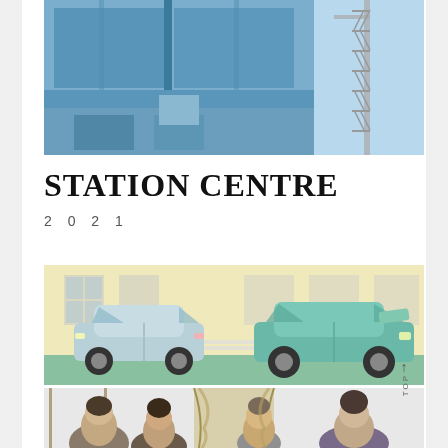[Figure (illustration): Illustration of a building facade with blue architectural elements and a construction crane on the right side. Geometric shapes in shades of blue and grey depicting a modern building exterior.]
STATION CENTRE
2 0 2 1
[Figure (illustration): Illustration of two cars parked or stopped on a street in front of a building with large windows. A light blue/grey hatchback on the left and a teal/green car on the right. The street and sidewalk are depicted in green tones.]
[Figure (illustration): Illustration of people gathered indoors, possibly in a restaurant or social setting, with curtains visible in the background. Multiple figures shown from about shoulder height up.]